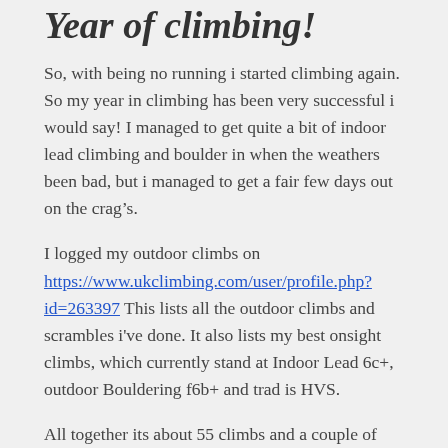Year of climbing!
So, with being no running i started climbing again. So my year in climbing has been very successful i would say! I managed to get quite a bit of indoor lead climbing and boulder in when the weathers been bad, but i managed to get a fair few days out on the crag’s.
I logged my outdoor climbs on https://www.ukclimbing.com/user/profile.php?id=263397 This lists all the outdoor climbs and scrambles i've done. It also lists my best onsight climbs, which currently stand at Indoor Lead 6c+, outdoor Bouldering f6b+ and trad is HVS.
All together its about 55 climbs and a couple of scrambles in 2019. Not bad to say the first time i hit the crags i was at 47 for 3 years and outdoor from